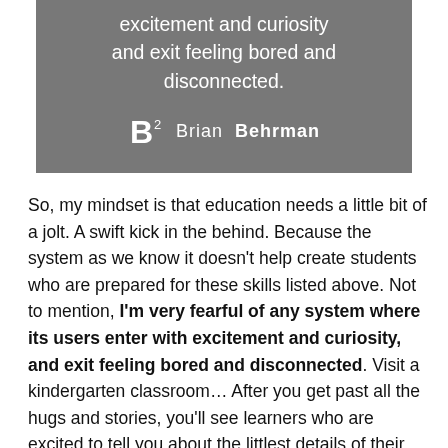[Figure (other): Dark grey quote box with text: 'excitement and curiosity and exit feeling bored and disconnected.' with Brian Behrman attribution and logo]
So, my mindset is that education needs a little bit of a jolt. A swift kick in the behind. Because the system as we know it doesn't help create students who are prepared for these skills listed above. Not to mention, I'm very fearful of any system where its users enter with excitement and curiosity, and exit feeling bored and disconnected. Visit a kindergarten classroom… After you get past all the hugs and stories, you'll see learners who are excited to tell you about the littlest details of their curiosity. But